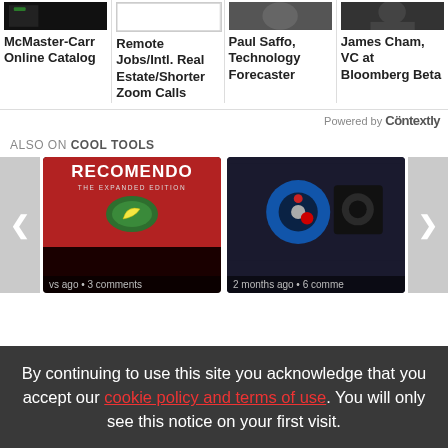[Figure (screenshot): Four article cards in a row: McMaster-Carr Online Catalog, Remote Jobs/Intl. Real Estate/Shorter Zoom Calls, Paul Saffo Technology Forecaster, James Cham VC at Bloomberg Beta. Each has a small thumbnail image above the title.]
Powered by Contextly
ALSO ON COOL TOOLS
[Figure (screenshot): Carousel showing two items: left item is Recomendo The Expanded Edition book cover (red background with banana illustration); right item is a photo of electronics/hardware items. Navigation arrows on left and right.]
By continuing to use this site you acknowledge that you accept our cookie policy and terms of use. You will only see this notice on your first visit.